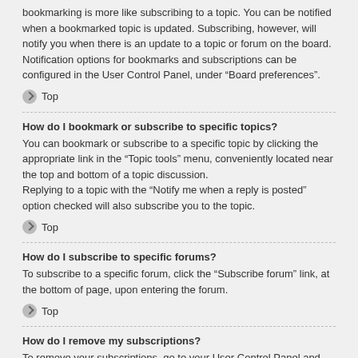bookmarking is more like subscribing to a topic. You can be notified when a bookmarked topic is updated. Subscribing, however, will notify you when there is an update to a topic or forum on the board. Notification options for bookmarks and subscriptions can be configured in the User Control Panel, under “Board preferences”.
↑ Top
How do I bookmark or subscribe to specific topics?
You can bookmark or subscribe to a specific topic by clicking the appropriate link in the “Topic tools” menu, conveniently located near the top and bottom of a topic discussion.
Replying to a topic with the “Notify me when a reply is posted” option checked will also subscribe you to the topic.
↑ Top
How do I subscribe to specific forums?
To subscribe to a specific forum, click the “Subscribe forum” link, at the bottom of page, upon entering the forum.
↑ Top
How do I remove my subscriptions?
To remove your subscriptions, go to your User Control Panel and follow the links to your subscriptions.